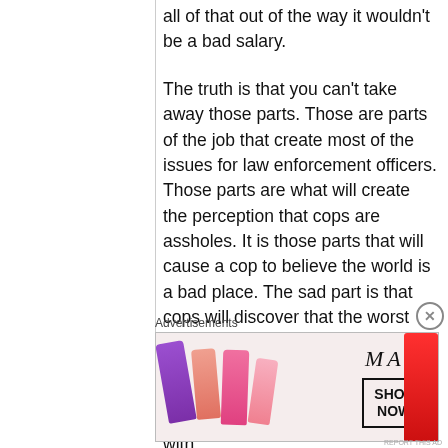all of that out of the way it wouldn't be a bad salary.
The truth is that you can't take away those parts. Those are parts of the job that create most of the issues for law enforcement officers. Those parts are what will create the perception that cops are assholes. It is those parts that will cause a cop to believe the world is a bad place. The sad part is that cops will discover that the worst part of the job will come from the administration. As if dealing with the public that does not appreciate you isn't enough, they get to deal with
Advertisements
[Figure (advertisement): MAC cosmetics advertisement showing lipsticks in purple, peach, pink, and red colors alongside the MAC logo and a 'SHOP NOW' button]